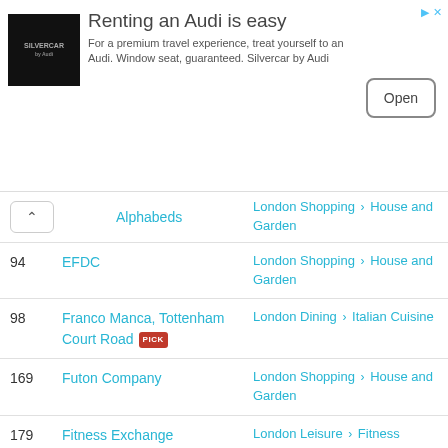[Figure (infographic): Silvercar by Audi advertisement banner with logo, tagline 'Renting an Audi is easy', body text, and Open button]
Alphabeds — London Shopping > House and Garden
94 — EFDC — London Shopping > House and Garden
98 — Franco Manca, Tottenham Court Road [PICK] — London Dining > Italian Cuisine
169 — Futon Company — London Shopping > House and Garden
179 — Fitness Exchange — London Leisure > Fitness
187 — Aroma — London Dining > Cafes and Delis
196 — Heal's, Tottenham Court Road — London Shopping > House